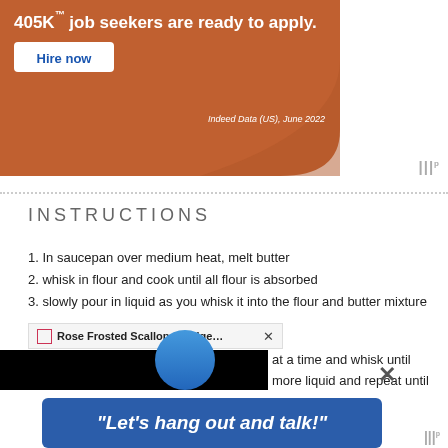[Figure (screenshot): Indeed advertisement banner with orange/brown background showing '405K job seekers are ready to apply.' text, a 'Hire now' button, and 'Indeed Data (US), June 2022' source citation]
INSTRUCTIONS
1. In saucepan over medium heat, melt butter
2. whisk in flour and cook until all flour is absorbed
3. slowly pour in liquid as you whisk it into the flour and butter mixture
4. (partially obscured) at a time and whisk until ... more liquid and repeat until
[Figure (screenshot): Browser popup/tab bar showing 'Rose Frosted Scalloped Edged ...' title with close X button, overlaid with a large black rectangle covering most of the lower left area]
ve you a richer tasting sauce, does make a great sauce. full of fat to be good.
[Figure (screenshot): Bottom advertisement banner with blue background showing '"Let\'s hang out and talk!"' text with close X button and watermark logo]